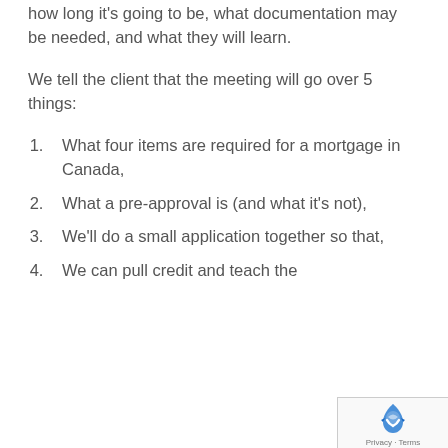how long it's going to be, what documentation may be needed, and what they will learn.
We tell the client that the meeting will go over 5 things:
What four items are required for a mortgage in Canada,
What a pre-approval is (and what it's not),
We'll do a small application together so that,
We can pull credit and teach the